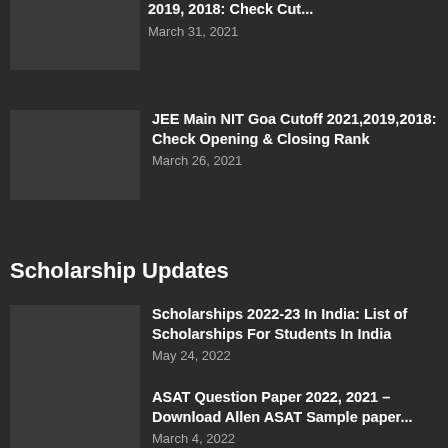2019, 2018: Check Cut...
March 31, 2021
JEE Main NIT Goa Cutoff 2021,2019,2018: Check Opening & Closing Rank
March 26, 2021
Scholarship Updates
Scholarships 2022-23 In India: List of Scholarships For Students In India
May 24, 2022
ASAT Question Paper 2022, 2021 – Download Allen ASAT Sample paper...
March 4, 2022